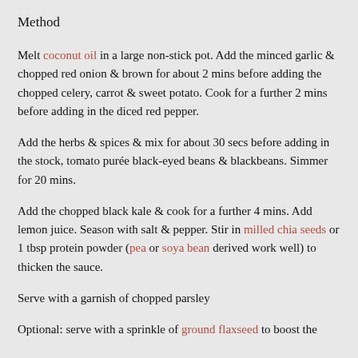Method
Melt coconut oil in a large non-stick pot. Add the minced garlic & chopped red onion & brown for about 2 mins before adding the chopped celery, carrot & sweet potato. Cook for a further 2 mins before adding in the diced red pepper.
Add the herbs & spices & mix for about 30 secs before adding in the stock, tomato purée black-eyed beans & blackbeans. Simmer for 20 mins.
Add the chopped black kale & cook for a further 4 mins. Add lemon juice. Season with salt & pepper. Stir in milled chia seeds or 1 tbsp protein powder (pea or soya bean derived work well) to thicken the sauce.
Serve with a garnish of chopped parsley
Optional: serve with a sprinkle of ground flaxseed to boost the